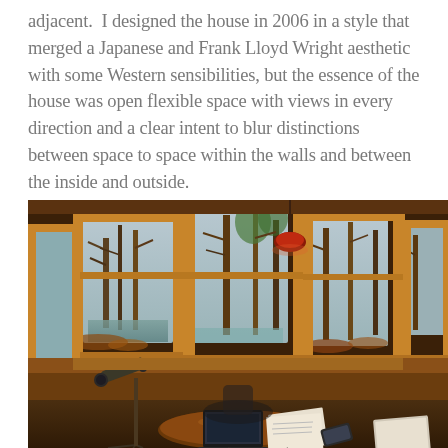adjacent.  I designed the house in 2006 in a style that merged a Japanese and Frank Lloyd Wright aesthetic with some Western sensibilities, but the essence of the house was open flexible space with views in every direction and a clear intent to blur distinctions between space to space within the walls and between the inside and outside.
[Figure (photo): Interior photo of a bay-window office nook with wooden window frames overlooking trees and a pond. A round wooden table holds a laptop and papers. A spotting scope on a tripod stands to the left. A red desk lamp hangs above. Autumn leaves and bare trees are visible outside.]